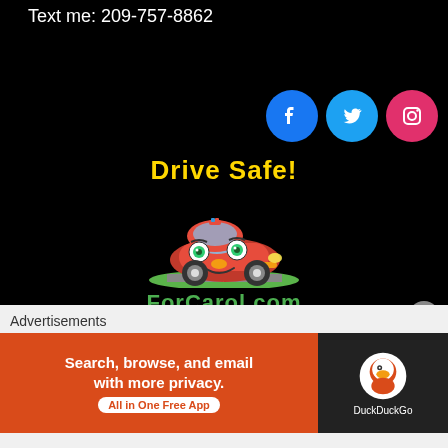Text me: 209-757-8862
[Figure (logo): Facebook, Twitter, and Instagram social media icon buttons]
[Figure (logo): Drive Safe! ForCarol.com cartoon car logo with yellow Drive Safe! text, red cartoon car illustration, and green ForCarol.com text]
[Figure (illustration): Yellow dashed road stripe divider on black background]
Advertisements
[Figure (screenshot): DuckDuckGo advertisement banner: Search, browse, and email with more privacy. All in One Free App. DuckDuckGo logo on dark background.]